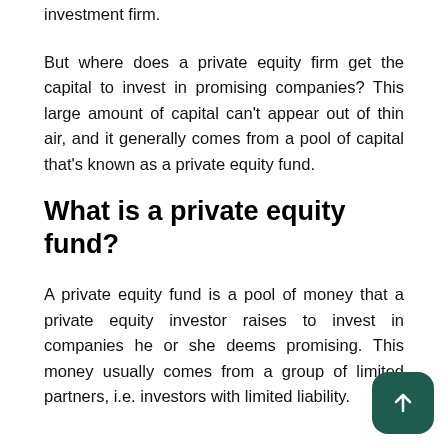investment firm.
But where does a private equity firm get the capital to invest in promising companies? This large amount of capital can't appear out of thin air, and it generally comes from a pool of capital that's known as a private equity fund.
What is a private equity fund?
A private equity fund is a pool of money that a private equity investor raises to invest in companies he or she deems promising. This money usually comes from a group of limited partners, i.e. investors with limited liability.